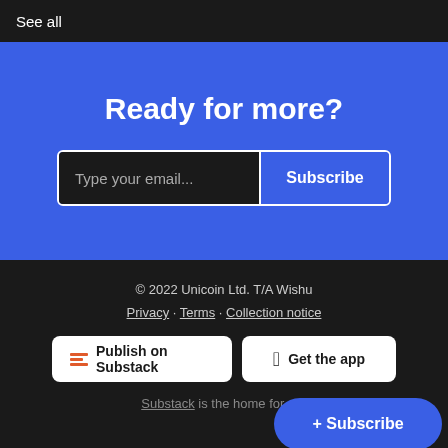See all
Ready for more?
Type your email... Subscribe
© 2022 Unicoin Ltd. T/A Wishu
Privacy · Terms · Collection notice
Publish on Substack
Get the app
Substack is the home for gre
+ Subscribe